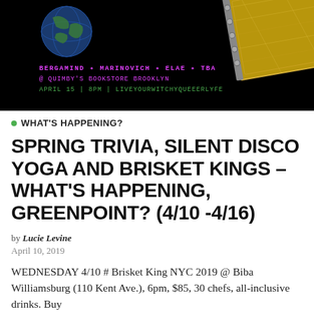[Figure (photo): Dark promotional event flyer with black background, featuring a gold book/object on the right and a globe on the upper left. Text reads: BERGAMIND * MARINOVICH * ELAE * TBA / @ QUIMBY'S BOOKSTORE BROOKLYN / APRIL 15 | 8PM | LIVEYOURWITCHYQUEEERLYFE in pink/magenta and green monospace font.]
WHAT'S HAPPENING?
SPRING TRIVIA, SILENT DISCO YOGA AND BRISKET KINGS – WHAT'S HAPPENING, GREENPOINT? (4/10 -4/16)
by Lucie Levine
April 10, 2019
WEDNESDAY 4/10 # Brisket King NYC 2019 @ Biba Williamsburg (110 Kent Ave.), 6pm, $85, 30 chefs, all-inclusive drinks. Buy